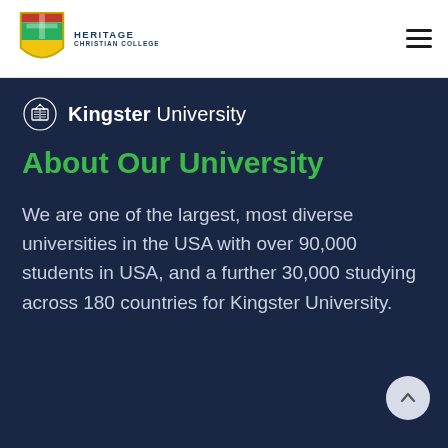[Figure (logo): Heritage Christian College shield logo with red, green and gold crest]
HERITAGE CHRISTIAN COLLEGE
[Figure (logo): Kingster University logo with open book and laurel wreath icon]
About Our University
We are one of the largest, most diverse universities in the USA with over 90,000 students in USA, and a further 30,000 studying across 180 countries for Kingster University.